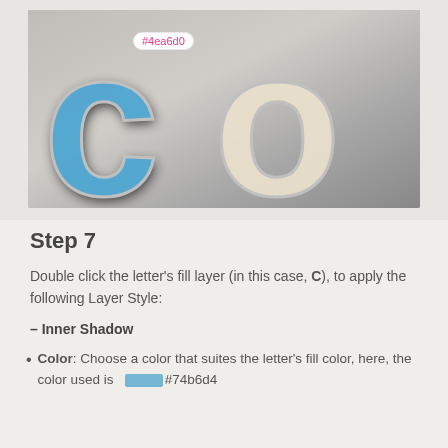[Figure (screenshot): Photoshop tutorial screenshot showing stylized letters 'co' with 3D embossed effect on a gray metallic background. The 'c' is teal/blue colored and the 'o' is cream/beige. A pink color badge shows '#4ea6d0'.]
Step 7
Double click the letter's fill layer (in this case, C), to apply the following Layer Style:
– Inner Shadow
Color: Choose a color that suites the letter's fill color, here, the color used is   #74b6d4